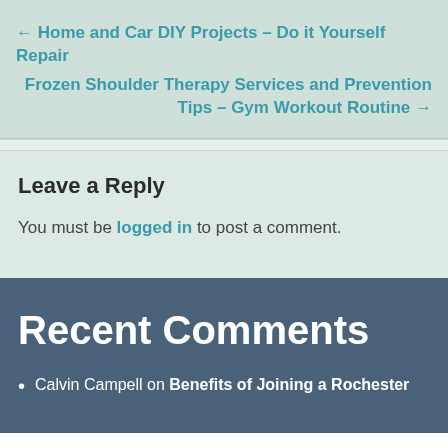← Home and Car DIY Projects – Do it Yourself Repair
Frozen Shoulder Therapy Services and Prevention Tips – Gym Workout Routine →
Leave a Reply
You must be logged in to post a comment.
Recent Comments
Calvin Campell on Benefits of Joining a Rochester